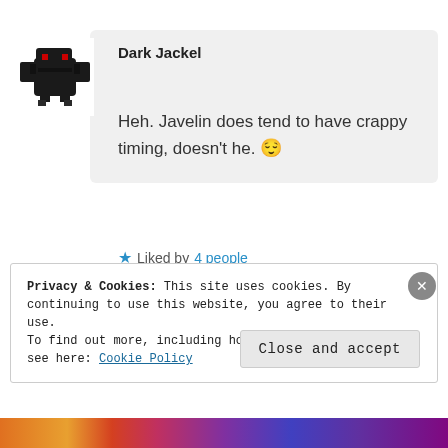[Figure (illustration): Pixel art avatar of a dark bird/bat creature with red eyes on a white background, used as a user profile photo]
Dark Jackel
Heh. Javelin does tend to have crappy timing, doesn't he. 😌
Liked by 4 people
AUGUST 8, 2016 AT 1:03 AM
Privacy & Cookies: This site uses cookies. By continuing to use this website, you agree to their use.
To find out more, including how to control cookies, see here: Cookie Policy
Close and accept